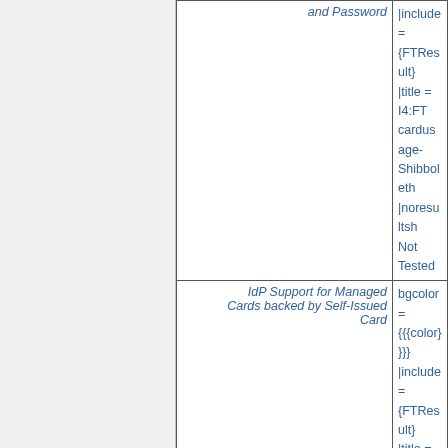| Feature | Value |
| --- | --- |
| and Password | |include = {FTResult}
|title = I4:FT cardusage- Shibboleth
|noresultsh
Not Tested |
| IdP Support for Managed Cards backed by Self-Issued Card | bgcolor= {{{color}}}}
|include = {FTResult}
|title = I4:FT cardusage- Shibboleth
|noresultsh
Not Tested |
| IdP Population of Display Token Values | bgcolor= {{{color}}}}
|include = {FTResult} |